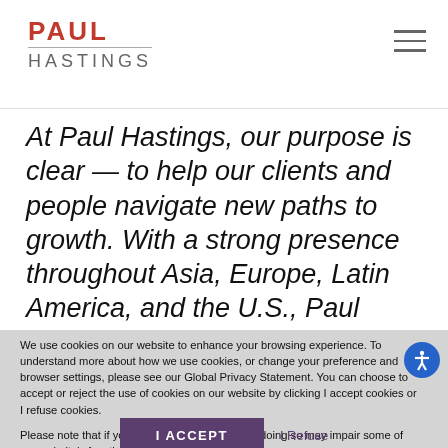PAUL HASTINGS
At Paul Hastings, our purpose is clear — to help our clients and people navigate new paths to growth. With a strong presence throughout Asia, Europe, Latin America, and the U.S., Paul Hastings is recognized as one of the
We use cookies on our website to enhance your browsing experience. To understand more about how we use cookies, or change your preference and browser settings, please see our Global Privacy Statement. You can choose to accept or reject the use of cookies on our website by clicking I accept cookies or I refuse cookies.

Please note that if you choose to reject cookies, doing so may impair some of our website's functionality.
I ACCEPT
I Refuse